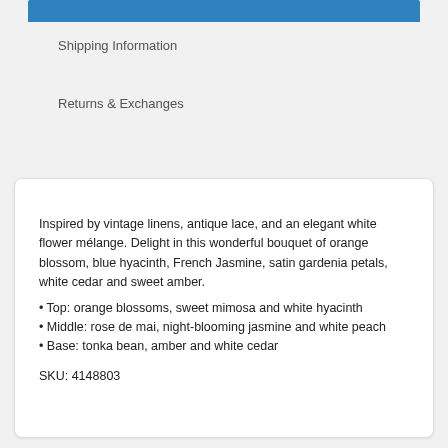Shipping Information
Returns & Exchanges
Inspired by vintage linens, antique lace, and an elegant white flower mélange. Delight in this wonderful bouquet of orange blossom, blue hyacinth, French Jasmine, satin gardenia petals, white cedar and sweet amber.
Top: orange blossoms, sweet mimosa and white hyacinth
Middle: rose de mai, night-blooming jasmine and white peach
Base: tonka bean, amber and white cedar
SKU: 4148803